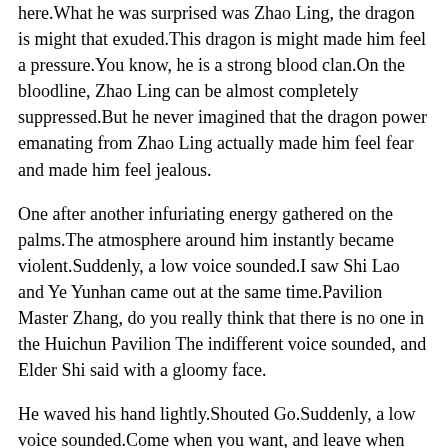here.What he was surprised was Zhao Ling, the dragon is might that exuded.This dragon is might made him feel a pressure.You know, he is a strong blood clan.On the bloodline, Zhao Ling can be almost completely suppressed.But he never imagined that the dragon power emanating from Zhao Ling actually made him feel fear and made him feel jealous.
One after another infuriating energy gathered on the palms.The atmosphere around him instantly became violent.Suddenly, a low voice sounded.I saw Shi Lao and Ye Yunhan came out at the same time.Pavilion Master Zhang, do you really think that there is no one in the Huichun Pavilion The indifferent voice sounded, and Elder Shi said with a gloomy face.
He waved his hand lightly.Shouted Go.Suddenly, a low voice sounded.Come when you want, and leave when you want.You really think of the Panshan tribe as your home.While he was talking, a group of .
Can I bring my blood pressure down naturally?
people from the Panshan tribe came to Shimen, blocking their way.
The also said his divine range to say a it, but he did not continue...